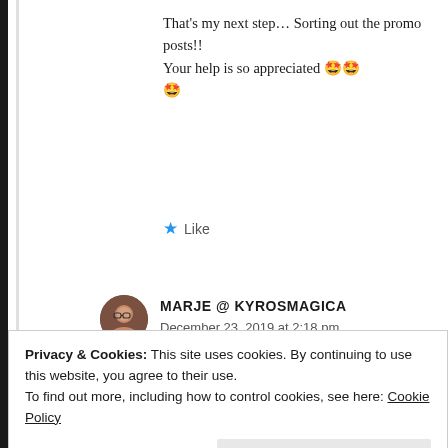That's my next step... Sorting out the promo posts!! Your help is so appreciated 🤩🤩🤩
Like
MARJE @ KYROSMAGICA
December 23, 2019 at 2:18 pm
Yeah! Exciting times ahead... 😊
Privacy & Cookies: This site uses cookies. By continuing to use this website, you agree to their use.
To find out more, including how to control cookies, see here: Cookie Policy
Close and accept
RITU